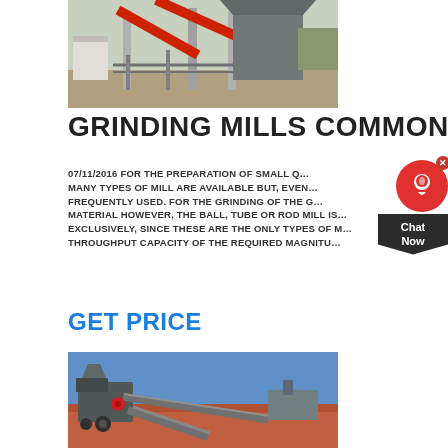[Figure (photo): Industrial grinding mill facility with red conveyor structures and metal framework against a blue sky]
GRINDING MILLS COMMON T…
07/11/2016 FOR THE PREPARATION OF SMALL Q… MANY TYPES OF MILL ARE AVAILABLE BUT, EVEN… FREQUENTLY USED. FOR THE GRINDING OF THE G… MATERIAL HOWEVER, THE BALL, TUBE OR ROD MILL IS… EXCLUSIVELY, SINCE THESE ARE THE ONLY TYPES OF M… THROUGHPUT CAPACITY OF THE REQUIRED MAGNITU…
GET PRICE
[Figure (photo): Mobile crushing and screening plant on a construction site with red rock/gravel in background under blue sky]